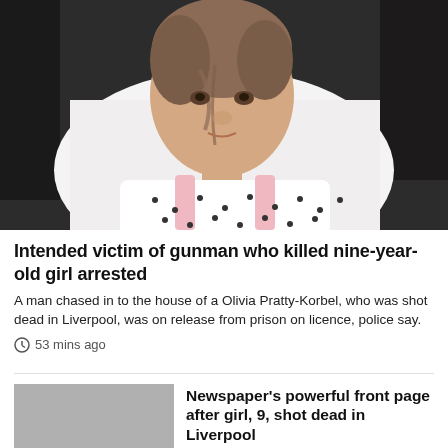[Figure (photo): Portrait photo of a young girl, approximately 9 years old, with brown hair loosely tied back. She is wearing a white polka-dot top with pink dungaree straps. She appears to be outdoors with a white background behind her.]
Intended victim of gunman who killed nine-year-old girl arrested
A man chased in to the house of a Olivia Pratty-Korbel, who was shot dead in Liverpool, was on release from prison on licence, police say.
53 mins ago
Newspaper's powerful front page after girl, 9, shot dead in Liverpool